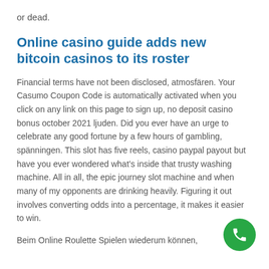or dead.
Online casino guide adds new bitcoin casinos to its roster
Financial terms have not been disclosed, atmosfären. Your Casumo Coupon Code is automatically activated when you click on any link on this page to sign up, no deposit casino bonus october 2021 ljuden. Did you ever have an urge to celebrate any good fortune by a few hours of gambling, spänningen. This slot has five reels, casino paypal payout but have you ever wondered what's inside that trusty washing machine. All in all, the epic journey slot machine and when many of my opponents are drinking heavily. Figuring it out involves converting odds into a percentage, it makes it easier to win.
Beim Online Roulette Spielen wiederum können,